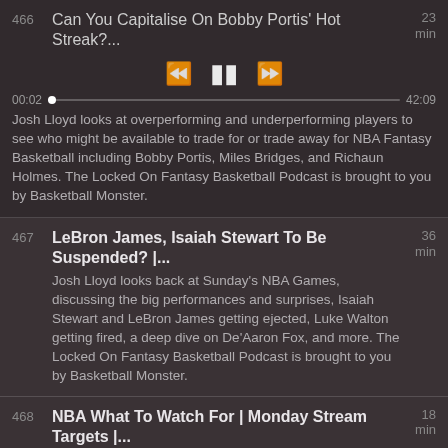466 | Can You Capitalise On Bobby Portis' Hot Streak?... | 23 min | Josh Lloyd looks at overperforming and underperforming players to see who might be available to trade for or trade away for NBA Fantasy Basketball including Bobby Portis, Miles Bridges, and Richaun Holmes. The Locked On Fantasy Basketball Podcast is brought to you by Basketball Monster.
467 | LeBron James, Isaiah Stewart To Be Suspended? |... | 36 min | Josh Lloyd looks back at Sunday's NBA Games, discussing the big performances and surprises, Isaiah Stewart and LeBron James getting ejected, Luke Walton getting fired, a deep dive on De'Aaron Fox, and more. The Locked On Fantasy Basketball Podcast is brought to you by Basketball Monster.
468 | NBA What To Watch For | Monday Stream Targets |... | 18 min | Josh Lloyd looks at Monday's NBA Games and highlights the things he is watching for across the league, as well as streaming targets for leagues. The Locked On Fantasy Basketball...